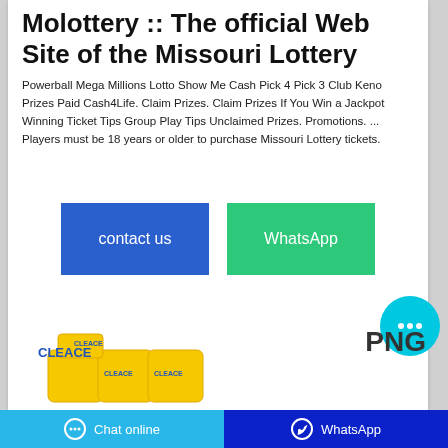Molottery :: The official Web Site of the Missouri Lottery
Powerball Mega Millions Lotto Show Me Cash Pick 4 Pick 3 Club Keno Prizes Paid Cash4Life. Claim Prizes. Claim Prizes If You Win a Jackpot Winning Ticket Tips Group Play Tips Unclaimed Prizes. Promotions. ... Players must be 18 years or older to purchase Missouri Lottery tickets.
[Figure (screenshot): Two buttons: 'contact us' (blue) and 'WhatsApp' (green), plus a cyan chat bubble icon with ellipsis, and a 'PNG' text label]
[Figure (photo): Cleace branded product packages (yellow bags) displayed in lower left area]
Chat online   WhatsApp